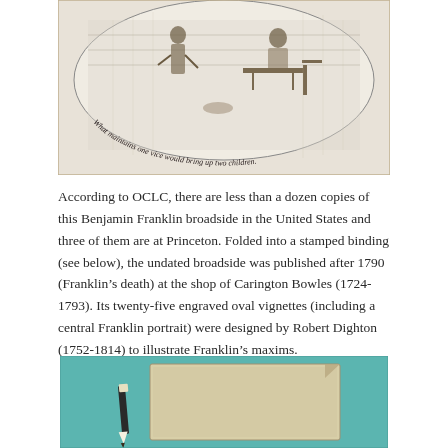[Figure (illustration): A cropped engraving showing a circular vignette with figures in a domestic scene. Text along the circular border reads: 'What maintains one vice would bring up two children.']
According to OCLC, there are less than a dozen copies of this Benjamin Franklin broadside in the United States and three of them are at Princeton. Folded into a stamped binding (see below), the undated broadside was published after 1790 (Franklin's death) at the shop of Carington Bowles (1724-1793). Its twenty-five engraved oval vignettes (including a central Franklin portrait) were designed by Robert Dighton (1752-1814) to illustrate Franklin's maxims.
[Figure (photo): A photograph of a folded stamped binding (booklet cover) placed on a teal/turquoise surface, with a pencil laid beside it for scale. The binding appears aged, with a cream/beige color.]